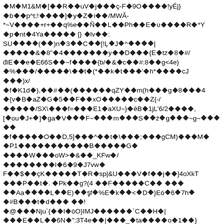Corrupted/encoded text block with diamond replacement characters and mixed ASCII symbols forming garbled lines of content.